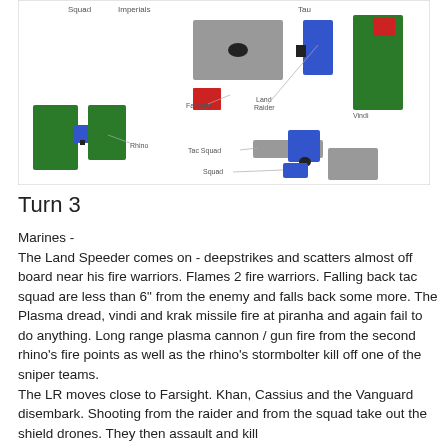[Figure (schematic): Top-down battle map diagram showing colored rectangles representing game units: green rectangles (Marines/Tau units), blue rectangles (units), gray rectangles (Rhino vehicles), red rectangles (markers). Labels include 'Farsight', 'Land Raider', 'Vindi', 'Rhino', 'Tac Squad', 'Squad'. Lines connect labels to units.]
Turn 3
Marines -
The Land Speeder comes on  - deepstrikes and scatters almost off board near his fire warriors. Flames 2 fire warriors. Falling back tac squad are less than 6" from the enemy and falls back some more. The Plasma dread, vindi and krak missile fire at piranha and again fail to do anything. Long range plasma cannon / gun fire from the second rhino's fire points as well as the rhino's stormbolter kill off one of the sniper teams.
The LR  moves close to Farsight. Khan, Cassius and the Vanguard disembark. Shooting from the raider and from the squad take out the shield drones. They then assault and kill something, but it is miraculous. Consolidated close